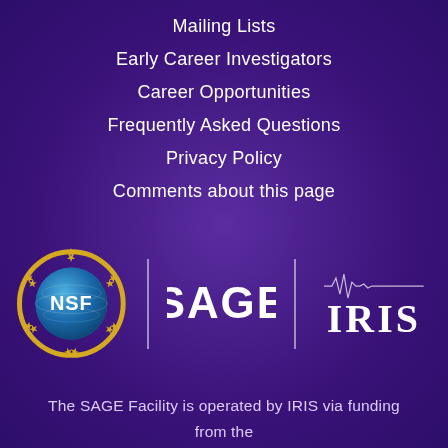Mailing Lists
Early Career Investigators
Career Opportunities
Frequently Asked Questions
Privacy Policy
Comments about this page
[Figure (logo): NSF globe logo with gold stars, SAGE text logo, and IRIS seismograph logo arranged horizontally with dividers]
The SAGE Facility is operated by IRIS via funding from the National Science Foundation